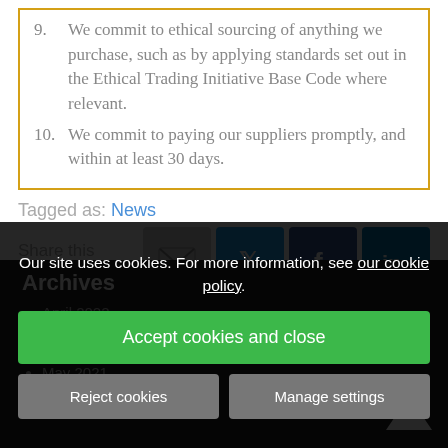9. We commit to ethical sourcing of anything we purchase, such as by applying standards set out in the Ethical Trading Initiative Base Code where relevant.
10. We commit to paying our suppliers promptly, and within at least 30 days.
Tagged as: News
Share this post:
[Figure (infographic): Cookie consent banner overlay with Accept, Reject, and Manage settings buttons]
Archives
April 2022
March 2022
June 2021
May 2021
April 2021